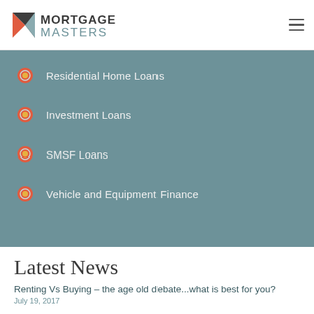MORTGAGE MASTERS
Residential Home Loans
Investment Loans
SMSF Loans
Vehicle and Equipment Finance
Latest News
Renting Vs Buying – the age old debate...what is best for you?
July 19, 2017